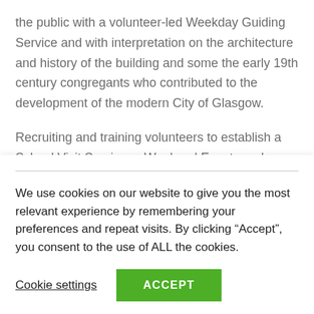the public with a volunteer-led Weekday Guiding Service and with interpretation on the architecture and history of the building and some the early 19th century congregants who contributed to the development of the modern City of Glasgow.
Recruiting and training volunteers to establish a School Visit Service, a Weekend Events and Activities Programme and a marketing programme, all designed to attract new audiences to find out about the building, the Archives collections and aspects of Scottish
We use cookies on our website to give you the most relevant experience by remembering your preferences and repeat visits. By clicking “Accept”, you consent to the use of ALL the cookies.
Cookie settings
ACCEPT